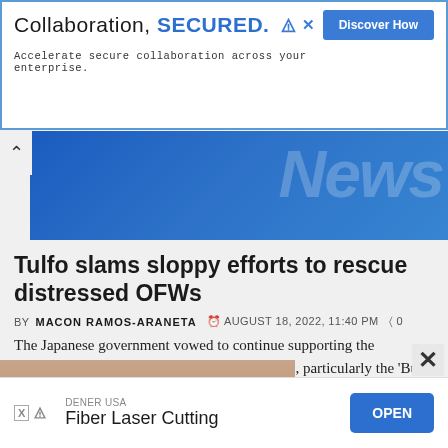[Figure (screenshot): Advertisement banner: 'Collaboration, SECURED.' with blue border and Discover How button, tagline 'Accelerate secure collaboration across your enterprise.']
[Figure (photo): Blue news website header/banner image with partial 'News' text overlay in large white semi-transparent letters. Blue gradient background.]
The Japanese government vowed to continue supporting the Philippine government's infrastructure projects, particularly the 'Build Better More' program under the...
Tulfo slams sloppy efforts to rescue distressed OFWs
BY MACON RAMOS-ARANETA  AUGUST 18, 2022, 11:40 PM  0
[Figure (photo): Partial photo of a person visible at bottom of page.]
[Figure (screenshot): Bottom ad: DENER USA Fiber Laser Cutting with OPEN button.]